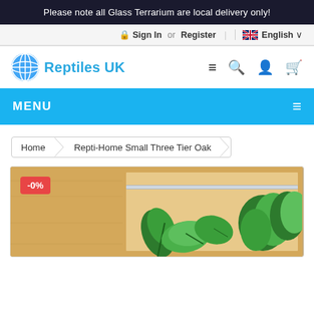Please note all Glass Terrarium are local delivery only!
Sign In or  Register | English
[Figure (logo): Reptiles UK logo with blue circle globe icon and blue text]
MENU
Home > Repti-Home Small Three Tier Oak
[Figure (photo): Product photo of a wooden terrarium with green plants inside, showing oak finish and sliding glass panel. -0% badge in top left.]